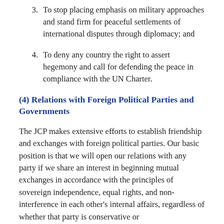3. To stop placing emphasis on military approaches and stand firm for peaceful settlements of international disputes through diplomacy; and
4. To deny any country the right to assert hegemony and call for defending the peace in compliance with the UN Charter.
(4) Relations with Foreign Political Parties and Governments
The JCP makes extensive efforts to establish friendship and exchanges with foreign political parties. Our basic position is that we will open our relations with any party if we share an interest in beginning mutual exchanges in accordance with the principles of sovereign independence, equal rights, and non-interference in each other's internal affairs, regardless of whether that party is conservative or